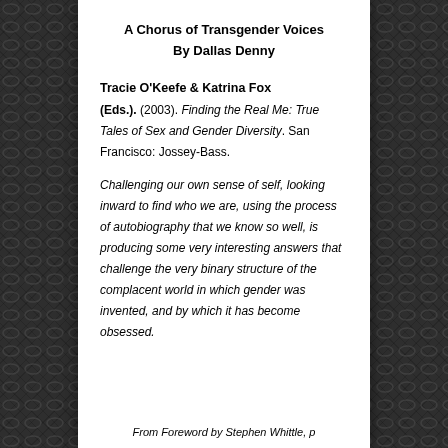A Chorus of Transgender Voices
By Dallas Denny
Tracie O'Keefe & Katrina Fox (Eds.). (2003). Finding the Real Me: True Tales of Sex and Gender Diversity. San Francisco: Jossey-Bass.
Challenging our own sense of self, looking inward to find who we are, using the process of autobiography that we know so well, is producing some very interesting answers that challenge the very binary structure of the complacent world in which gender was invented, and by which it has become obsessed.
From Foreword by Stephen Whittle, p